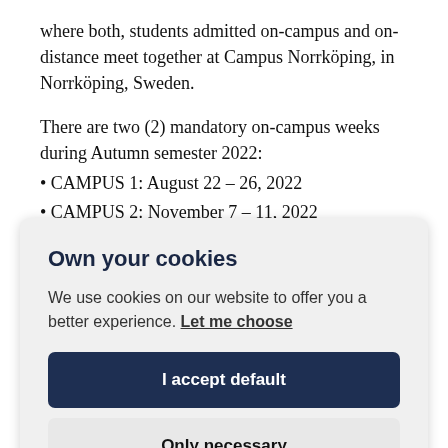where both, students admitted on-campus and on-distance meet together at Campus Norrköping, in Norrköping, Sweden.
There are two (2) mandatory on-campus weeks during Autumn semester 2022:
• CAMPUS 1: August 22 – 26, 2022
• CAMPUS 2: November 7 – 11, 2022
Own your cookies
We use cookies on our website to offer you a better experience. Let me choose
I accept default
Only necessary
If you for some reason cannot attend the programme as